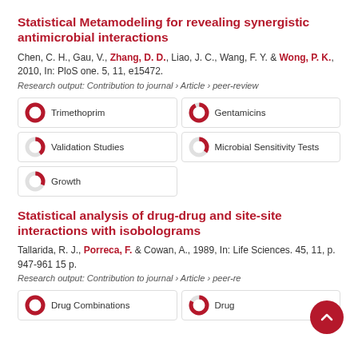Statistical Metamodeling for revealing synergistic antimicrobial interactions
Chen, C. H., Gau, V., Zhang, D. D., Liao, J. C., Wang, F. Y. & Wong, P. K., 2010, In: PloS one. 5, 11, e15472.
Research output: Contribution to journal › Article › peer-review
Trimethoprim
Gentamicins
Validation Studies
Microbial Sensitivity Tests
Growth
Statistical analysis of drug-drug and site-site interactions with isobolograms
Tallarida, R. J., Porreca, F. & Cowan, A., 1989, In: Life Sciences. 45, 11, p. 947-961 15 p.
Research output: Contribution to journal › Article › peer-review
Drug Combinations
Drug